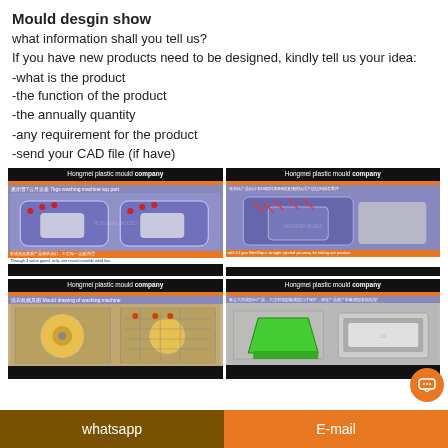Mould desgin show
what information shall you tell us?
If you have new products need to be designed, kindly tell us your idea:
-what is the product
-the function of the product
-the annually quantity
-any requirement for the product
-send your CAD file (if have)
[Figure (photo): Hongmei plastic mould company - 惠尔普7公斤盒盖 7kgs washing machine top part. Shows blue 3D CAD model of washing machine top panel from two angles. Caption: Through 3 valve gated ,only one round invisible weld line]
[Figure (photo): Hongmei plastic mould company - washing machine product showing 10 sliders and 8 lifters for undercut taking-out. Shows blue 3D CAD model with red ejector pins and white part. Caption: with 11 gas lifter65pcs straight ejected pin,easy for taking out product]
[Figure (photo): Hongmei plastic mould company - 洗衣机模具图 Mould drawing of washing machine. Shows mould tooling drawing with colorful components.]
[Figure (photo): Hongmei plastic mould company - showing products with large surface protection. Shows green and grey 3D parts.]
whatsapp    E-mail